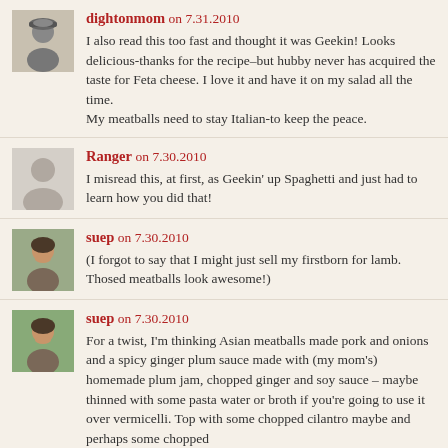dightonmom on 7.31.2010 — I also read this too fast and thought it was Geekin! Looks delicious-thanks for the recipe–but hubby never has acquired the taste for Feta cheese. I love it and have it on my salad all the time. My meatballs need to stay Italian-to keep the peace.
Ranger on 7.30.2010 — I misread this, at first, as Geekin' up Spaghetti and just had to learn how you did that!
suep on 7.30.2010 — (I forgot to say that I might just sell my firstborn for lamb. Thosed meatballs look awesome!)
suep on 7.30.2010 — For a twist, I'm thinking Asian meatballs made pork and onions and a spicy ginger plum sauce made with (my mom's) homemade plum jam, chopped ginger and soy sauce – maybe thinned with some pasta water or broth if you're going to use it over vermicelli. Top with some chopped cilantro maybe and perhaps some chopped